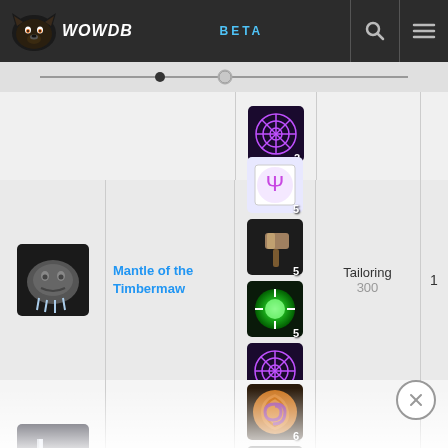WOWDB BETA
[Figure (screenshot): WoWDB crafting recipe list showing Mantle of the Timbermaw and Argent Boots, both Tailoring skill 300]
| Item Icon | Item Name | Ingredients | Profession/Skill | Count |
| --- | --- | --- | --- | --- |
| [icon] | Mantle of the Timbermaw | [rune x5, hammer x5, spark x5, web x2] | Tailoring 300 | 1 |
| [icon] | Argent Boots | [swirl x6, rune x4, orb x2, crystal x2, ...] | Tailoring 300 | 1 |